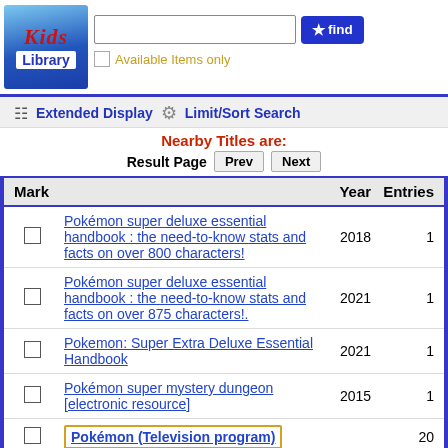[Figure (logo): Kids Library logo - colorful book with 'Kids Library' text on blue background]
[Figure (screenshot): Search bar input field and blue 'find' button with star icon]
Available Items only
Extended Display  Limit/Sort Search
Nearby Titles are:
Result Page  Prev  Next
| Mark |  | Year | Entries |
| --- | --- | --- | --- |
| ☐ | Pokémon super deluxe essential handbook : the need-to-know stats and facts on over 800 characters! | 2018 | 1 |
| ☐ | Pokémon super deluxe essential handbook : the need-to-know stats and facts on over 875 characters!. | 2021 | 1 |
| ☐ | Pokemon: Super Extra Deluxe Essential Handbook | 2021 | 1 |
| ☐ | Pokémon super mystery dungeon [electronic resource] | 2015 | 1 |
| ☐ | Pokémon (Television program) |  | 20 |